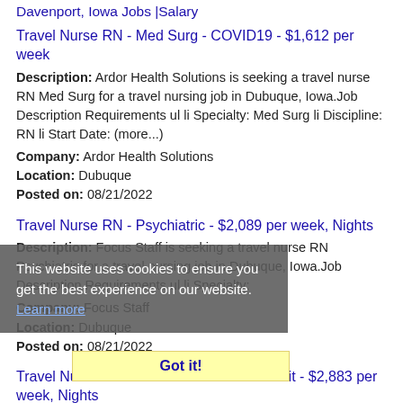Davenport, Iowa Jobs |Salary
Travel Nurse RN - Med Surg - COVID19 - $1,612 per week
Description: Ardor Health Solutions is seeking a travel nurse RN Med Surg for a travel nursing job in Dubuque, Iowa.Job Description Requirements ul li Specialty: Med Surg li Discipline: RN li Start Date: (more...)
Company: Ardor Health Solutions
Location: Dubuque
Posted on: 08/21/2022
Travel Nurse RN - Psychiatric - $2,089 per week, Nights
Description: Focus Staff is seeking a travel nurse RN Psychiatric for a travel nursing job in Dubuque, Iowa.Job Description Requirements ul li Specialty:
Company: Focus Staff
Location: Dubuque
Posted on: 08/21/2022
Travel Nurse RN - ICU - Intensive Care Unit - $2,883 per week, Nights
Description: Focus Staff is seeking a travel nurse RN ICU - Intensive Care Unit for a travel nursing job in Dubuque, Iowa.Job Description Requirements ul li Specialty:
This website uses cookies to ensure you get the best experience on our website. Learn more
Got it!